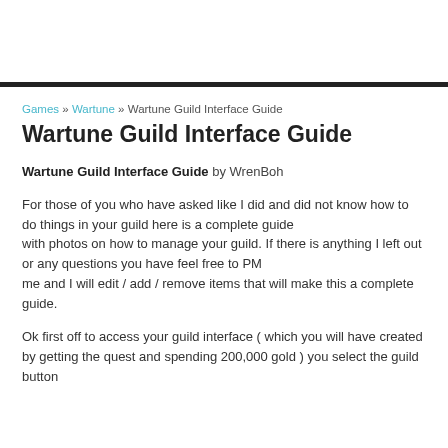Games » Wartune » Wartune Guild Interface Guide
Wartune Guild Interface Guide
Wartune Guild Interface Guide by WrenBoh
For those of you who have asked like I did and did not know how to do things in your guild here is a complete guide with photos on how to manage your guild. If there is anything I left out or any questions you have feel free to PM me and I will edit / add / remove items that will make this a complete guide.
Ok first off to access your guild interface ( which you will have created by getting the quest and spending 200,000 gold ) you select the guild button